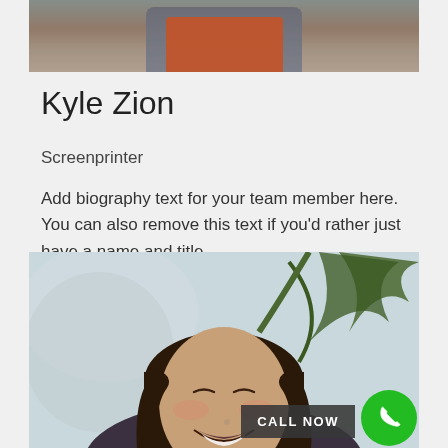[Figure (photo): Top portion of a person wearing a jeans jacket and orange shirt, cropped at mid-torso]
Kyle Zion
Screenprinter
Add biography text for your team member here. You can also remove this text if you'd rather just have a name and title.
[Figure (photo): A woman with dark hair laughing with eyes closed, palm trees in background, with a 'CALL NOW' overlay and green phone button]